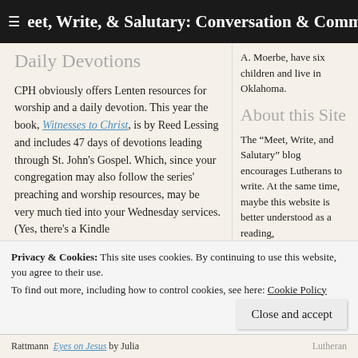Meet, Write, & Salutary: Conversation & Community for
Daily Devotions
A. Moerbe, have six children and live in Oklahoma.
About this Site
CPH obviously offers Lenten resources for worship and a daily devotion. This year the book, Witnesses to Christ, is by Reed Lessing and includes 47 days of devotions leading through St. John's Gospel. Which, since your congregation may also follow the series' preaching and worship resources, may be very much tied into your Wednesday services. (Yes, there's a Kindle
The “Meet, Write, and Salutary” blog encourages Lutherans to write. At the same time, maybe this website is better understood as a reading,
Lutheran
Rattmann Eyes on Jesus by Julia
Privacy & Cookies: This site uses cookies. By continuing to use this website, you agree to their use.
To find out more, including how to control cookies, see here: Cookie Policy
Close and accept